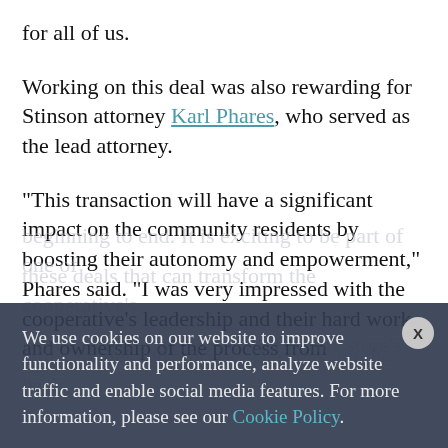for all of us.
Working on this deal was also rewarding for Stinson attorney Karl Phares, who served as the lead attorney.
“This transaction will have a significant impact on the community residents by boosting their autonomy and empowerment,” Phares said. “I was very impressed with the cooperative’s leadership and their hard work and ownership of the process from
We use cookies on our website to improve functionality and performance, analyze website traffic and enable social media features. For more information, please see our Cookie Policy.